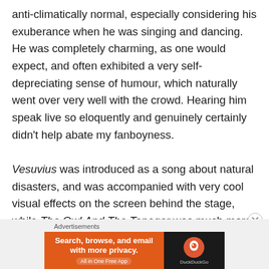anti-climatically normal, especially considering his exuberance when he was singing and dancing. He was completely charming, as one would expect, and often exhibited a very self-depreciating sense of humour, which naturally went over very well with the crowd. Hearing him speak live so eloquently and genuinely certainly didn't help abate my fanboyness.

Vesuvius was introduced as a song about natural disasters, and was accompanied with very cool visual effects on the screen behind the stage, while The Owl And The Tanager was much more lowkey, whilst giving Sufjan's vocals a chance to truly soar.
[Figure (other): DuckDuckGo advertisement banner: orange left panel with text 'Search, browse, and email with more privacy. All in One Free App' and dark right panel with DuckDuckGo logo and name.]